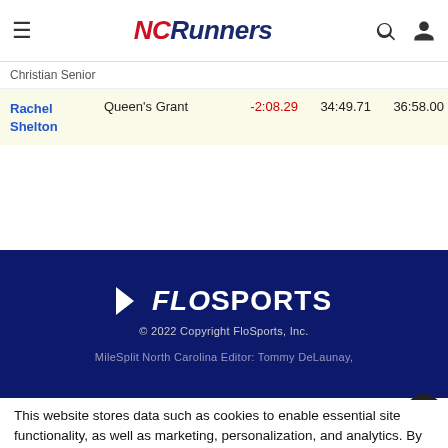NCRunners
| Name | School | Diff | Time1 | Time2 |
| --- | --- | --- | --- | --- |
| Christian Senior |  |  |  |  |
| Rachel Shelton | Queen's Grant | -2:08.29 | 34:49.71 | 36:58.00 |
[Figure (logo): FloSports logo - white text on dark navy background]
© 2022 Copyright FloSports, Inc.
MileSplit North Carolina Editor: Tommy DeLaunay,
This website stores data such as cookies to enable essential site functionality, as well as marketing, personalization, and analytics. By remaining on this website you indicate your consent. Data Storage Policy